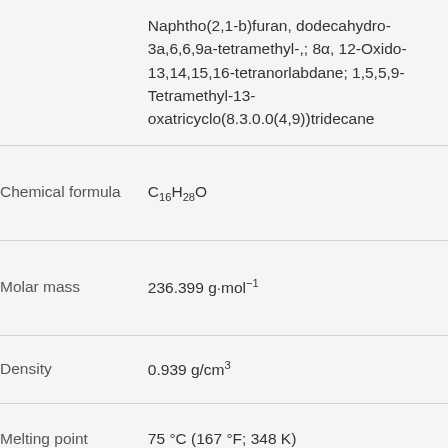| Property | Value |
| --- | --- |
|  | Naphtho(2,1-b)furan, dodecahydro-3a,6,6,9a-tetramethyl-,; 8α, 12-Oxido-13,14,15,16-tetranorlabdane; 1,5,5,9-Tetramethyl-13-oxatricyclo(8.3.0.0(4,9))tridecane |
| Chemical formula | C16H28O |
| Molar mass | 236.399 g·mol⁻¹ |
| Density | 0.939 g/cm³ |
| Melting point | 75 °C (167 °F; 348 K) |